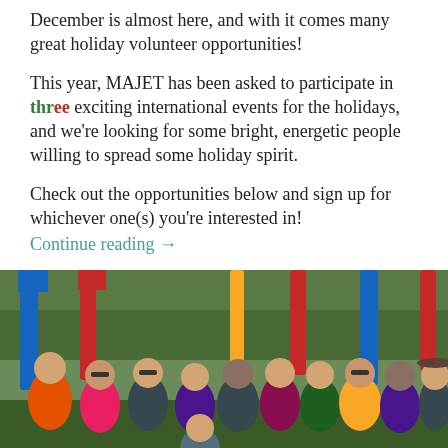December is almost here, and with it comes many great holiday volunteer opportunities!
This year, MAJET has been asked to participate in three exciting international events for the holidays, and we're looking for some bright, energetic people willing to spread some holiday spirit.
Check out the opportunities below and sign up for whichever one(s) you're interested in!
Continue reading →
[Figure (photo): Group of young people wearing life jackets and holding colorful kayak paddles outdoors near water]